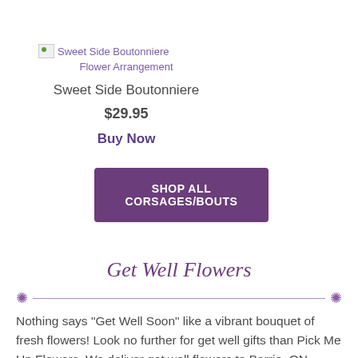[Figure (photo): Broken image placeholder for Sweet Side Boutonniere Flower Arrangement]
Flower Arrangement
Sweet Side Boutonniere
$29.95
Buy Now
SHOP ALL CORSAGES/BOUTS
Get Well Flowers
Nothing says "Get Well Soon" like a vibrant bouquet of fresh flowers! Look no further for get well gifts than Pick Me Up Flowers. We deliver get well flowers to Barrie, ON